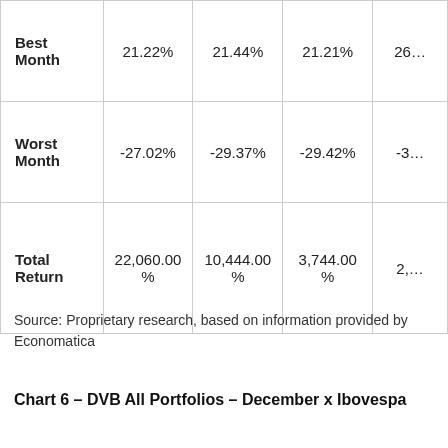|  | Col1 | Col2 | Col3 | Col4 |
| --- | --- | --- | --- | --- |
| Best Month | 21.22% | 21.44% | 21.21% | 26… |
| Worst Month | -27.02% | -29.37% | -29.42% | -3… |
| Total Return | 22,060.00% | 10,444.00% | 3,744.00% | 2,… |
Source: Proprietary research, based on information provided by Economatica
Chart 6 – DVB All Portfolios – December x Ibovespa